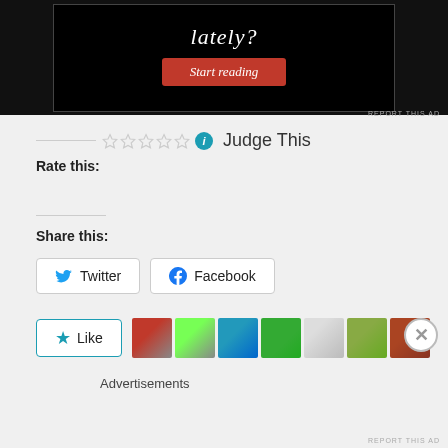[Figure (screenshot): Dark advertisement banner with text 'lately?' and a red 'Start reading' button]
REPORT THIS AD
[Figure (other): Star rating widget with 5 empty stars and info icon, followed by 'Judge This' text]
Rate this:
Share this:
[Figure (screenshot): Twitter and Facebook share buttons]
[Figure (screenshot): Like button with star icon and row of user avatars]
Advertisements
REPORT THIS AD